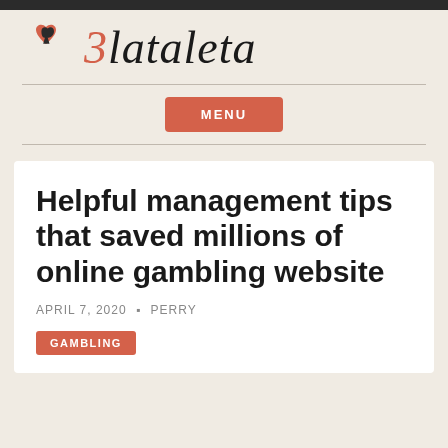Zlataleta
[Figure (logo): Zlataleta logo with heart and spade icons in salmon/red color alongside stylized italic text]
Helpful management tips that saved millions of online gambling website
APRIL 7, 2020 · PERRY
GAMBLING